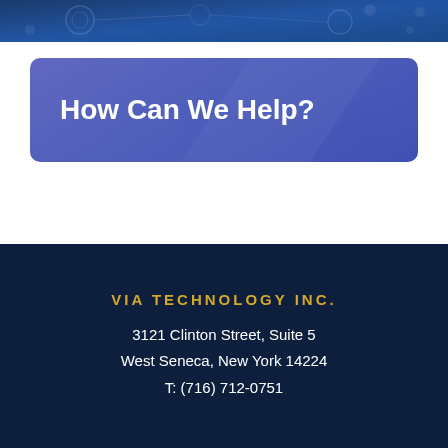[Figure (illustration): Dark blue circuit board / technology banner image at the top of the page]
How Can We Help?
VIA TECHNOLOGY INC.
3121 Clinton Street, Suite 5
West Seneca, New York 14224
T: (716) 712-0751